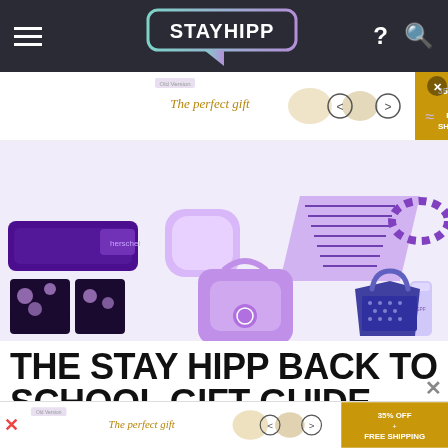STAYHIPP
[Figure (illustration): Collage of back-to-school products in purple/lavender colors: pencil case, notebook, backpack, water bottle, laptop stand, socks, scrunchie, sunscreen tube, tote bag, earbuds case]
THE STAY HIPP BACK TO SCHOOL GIFT GUIDE
[Figure (photo): Bottom advertisement banner showing 'The perfect gift' with product images and '35% OFF + FREE SHIPPING' gold button]